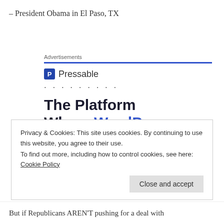– President Obama in El Paso, TX
[Figure (other): Pressable advertisement: logo with 'P' icon and brand name 'Pressable', dotted line, headline 'The Platform Where WordPress Works Best']
Privacy & Cookies: This site uses cookies. By continuing to use this website, you agree to their use.
To find out more, including how to control cookies, see here: Cookie Policy
But if Republicans AREN'T pushing for a deal with